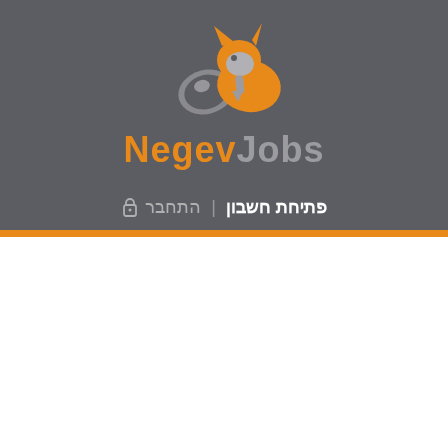[Figure (logo): NegevJobs logo with orange and grey fox mascot above the text 'NegevJobs' in orange and grey on dark grey background]
פתיחת חשבון | התחבר 🔒